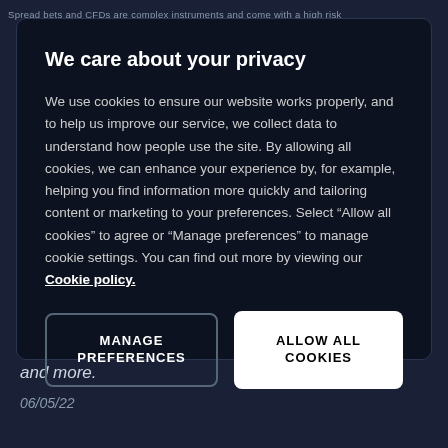Spread bets and CFDs are complex instruments and come with a high risk
We care about your privacy
We use cookies to ensure our website works properly, and to help us improve our service, we collect data to understand how people use the site. By allowing all cookies, we can enhance your experience by, for example, helping you find information more quickly and tailoring content or marketing to your preferences. Select “Allow all cookies” to agree or “Manage preferences” to manage cookie settings. You can find out more by viewing our Cookie policy.
MANAGE PREFERENCES
ALLOW ALL COOKIES
inflation for April, plus earnings from BT Group, ITV and more.
06/05/22